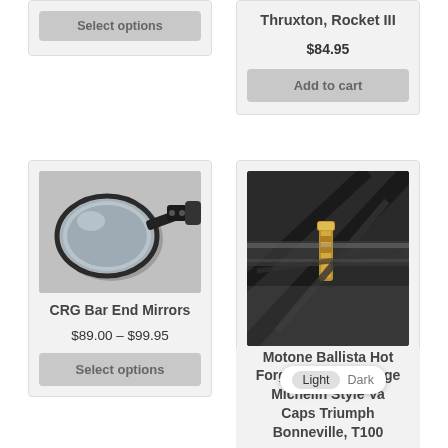[Figure (other): Partial product card top-left showing a 'Select options' button]
Select options
Thruxton, Rocket III
$84.95
Add to cart
[Figure (photo): CRG Bar End Mirror product photo - oval mirror with black mounting hardware]
CRG Bar End Mirrors
$89.00 – $99.95
Select options
[Figure (photo): Motone Ballista Hot Forged Brass Vintage Michelin Style Valve Caps product photo - close-up of brass valve caps on a wheel]
Motone Ballista Hot Forged Brass Vintage Michelin Style Valve Caps Triumph Bonneville, T100